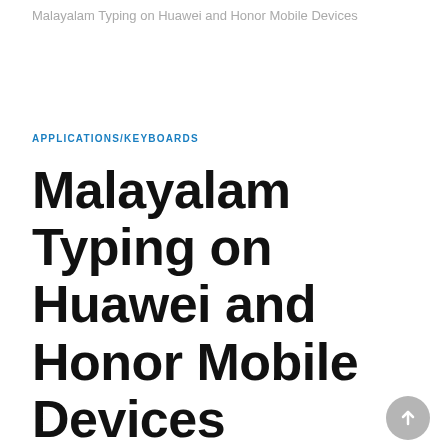Malayalam Typing on Huawei and Honor Mobile Devices
APPLICATIONS/KEYBOARDS
Malayalam Typing on Huawei and Honor Mobile Devices